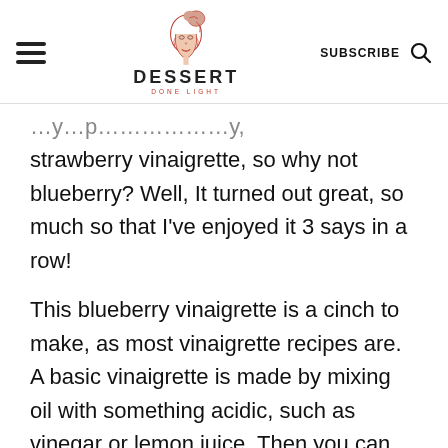DESSERT DONE LIGHT — SUBSCRIBE
strawberry vinaigrette, so why not blueberry? Well, It turned out great, so much so that I've enjoyed it 3 says in a row!
This blueberry vinaigrette is a cinch to make, as most vinaigrette recipes are. A basic vinaigrette is made by mixing oil with something acidic, such as vinegar or lemon juice. Then you can add salt, herbs, and spices to make it your own. I've